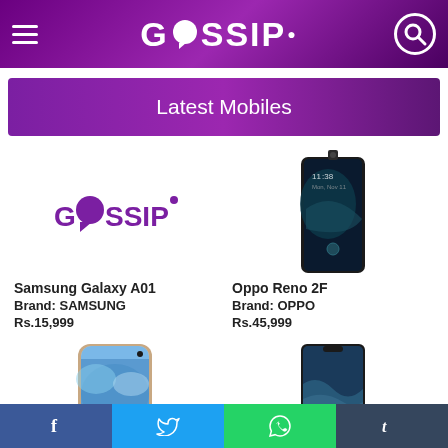GOSSIP - navigation bar with hamburger menu and search icon
Latest Mobiles
[Figure (logo): GOSSIP logo in purple]
Samsung Galaxy A01
Brand: SAMSUNG
Rs.15,999
[Figure (photo): Oppo Reno 2F smartphone photo]
Oppo Reno 2F
Brand: OPPO
Rs.45,999
[Figure (photo): Samsung Galaxy S10+ smartphone photo]
[Figure (photo): Another smartphone photo, partially visible]
Facebook | Twitter | WhatsApp | Tumblr